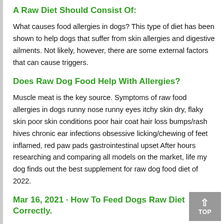A Raw Diet Should Consist Of:
What causes food allergies in dogs? This type of diet has been shown to help dogs that suffer from skin allergies and digestive ailments. Not likely, however, there are some external factors that can cause triggers.
Does Raw Dog Food Help With Allergies?
Muscle meat is the key source. Symptoms of raw food allergies in dogs runny nose runny eyes itchy skin dry, flaky skin poor skin conditions poor hair coat hair loss bumps/rash hives chronic ear infections obsessive licking/chewing of feet inflamed, red paw pads gastrointestinal upset After hours researching and comparing all models on the market, life my dog finds out the best supplement for raw dog food diet of 2022.
Mar 16, 2021 · How To Feed Dogs Raw Diet Correctly.
Cat allergies are more frequent than dog allergies. Racing greyhounds and sled dogs have long eaten raw food diets.